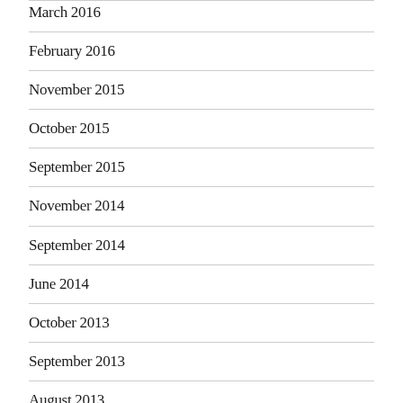March 2016
February 2016
November 2015
October 2015
September 2015
November 2014
September 2014
June 2014
October 2013
September 2013
August 2013
July 2013